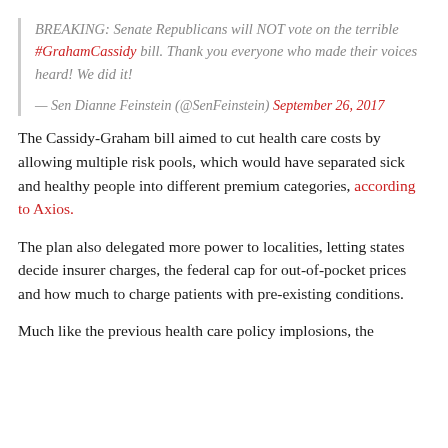BREAKING: Senate Republicans will NOT vote on the terrible #GrahamCassidy bill. Thank you everyone who made their voices heard! We did it! — Sen Dianne Feinstein (@SenFeinstein) September 26, 2017
The Cassidy-Graham bill aimed to cut health care costs by allowing multiple risk pools, which would have separated sick and healthy people into different premium categories, according to Axios.
The plan also delegated more power to localities, letting states decide insurer charges, the federal cap for out-of-pocket prices and how much to charge patients with pre-existing conditions.
Much like the previous health care policy implosions, the